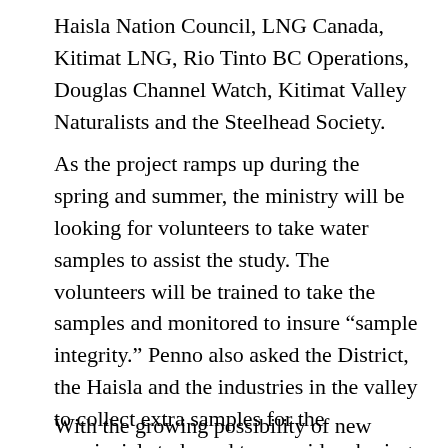Haisla Nation Council, LNG Canada, Kitimat LNG, Rio Tinto BC Operations, Douglas Channel Watch, Kitimat Valley Naturalists and the Steelhead Society.
As the project ramps up during the spring and summer, the ministry will be looking for volunteers to take water samples to assist the study. The volunteers will be trained to take the samples and monitored to insure “sample integrity.” Penno also asked the District, the Haisla and the industries in the valley to collect extra samples for the provincial study and to consider sharing historical data for the study.
With the growing possibility of new industrial